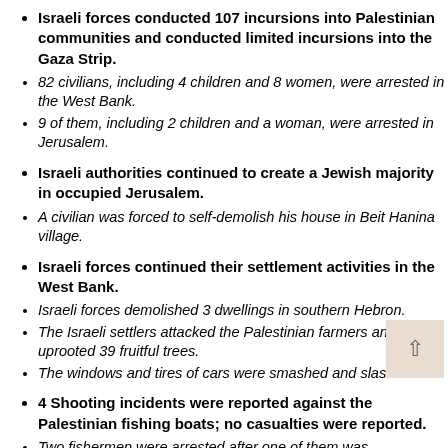Israeli forces conducted 107 incursions into Palestinian communities and conducted limited incursions into the Gaza Strip.
82 civilians, including 4 children and 8 women, were arrested in the West Bank.
9 of them, including 2 children and a woman, were arrested in Jerusalem.
Israeli authorities continued to create a Jewish majority in occupied Jerusalem.
A civilian was forced to self-demolish his house in Beit Hanina village.
Israeli forces continued their settlement activities in the West Bank.
Israeli forces demolished 3 dwellings in southern Hebron.
The Israeli settlers attacked the Palestinian farmers and uprooted 39 fruitful trees.
The windows and tires of cars were smashed and slashed.
4 Shooting incidents were reported against the Palestinian fishing boats; no casualties were reported.
Two fishermen were arrested after one of them was wounded, and the area was within nautical miles.
Israeli forces turned the West Bank into cantons and continued to...